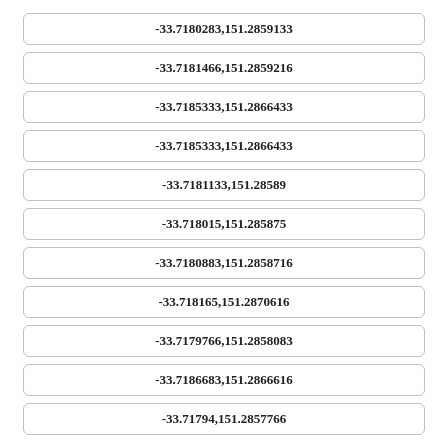-33.7180283,151.2859133
-33.7181466,151.2859216
-33.7185333,151.2866433
-33.7185333,151.2866433
-33.7181133,151.28589
-33.718015,151.285875
-33.7180883,151.2858716
-33.718165,151.2870616
-33.7179766,151.2858083
-33.7186683,151.2866616
-33.71794,151.2857766